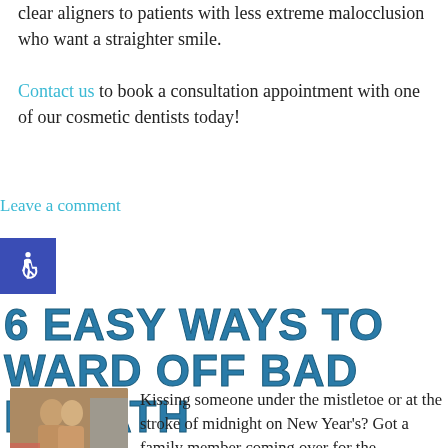clear aligners to patients with less extreme malocclusion who want a straighter smile.
Contact us to book a consultation appointment with one of our cosmetic dentists today!
Leave a comment
[Figure (illustration): Accessibility icon: white wheelchair symbol on blue square background]
6 EASY WAYS TO WARD OFF BAD BREATH
[Figure (photo): A couple kissing or embracing, holiday themed photo]
Kissing someone under the mistletoe or at the stroke of midnight on New Year's? Got a family member coming over for the